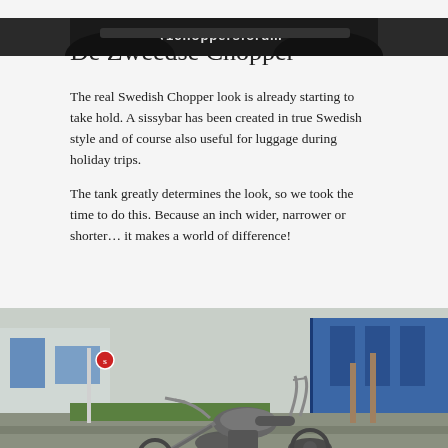[Figure (photo): Partial top banner image showing a motorcycle/chopper website header with text partially visible]
11 DECEMBER 2020
De Zweedse Chopper
The real Swedish Chopper look is already starting to take hold. A sissybar has been created in true Swedish style and of course also useful for luggage during holiday trips.
The tank greatly determines the look, so we took the time to do this. Because an inch wider, narrower or shorter… it makes a world of difference!
[Figure (photo): Photograph of a custom Swedish chopper motorcycle parked outdoors in an industrial/commercial area with blue buildings in the background. The motorcycle has extended forks and a distinctive chopper silhouette.]